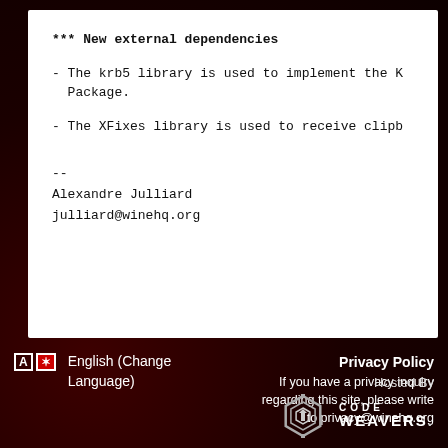*** New external dependencies
- The krb5 library is used to implement the K
  Package.
- The XFixes library is used to receive clipb
--
Alexandre Julliard
julliard@winehq.org
English (Change Language)
Privacy Policy
If you have a privacy inquiry regarding this site, please write to privacy@winehq.org
Hosted By
[Figure (logo): CodeWeavers logo — hexagonal gear icon with 'CODE WEAVERS.' text]